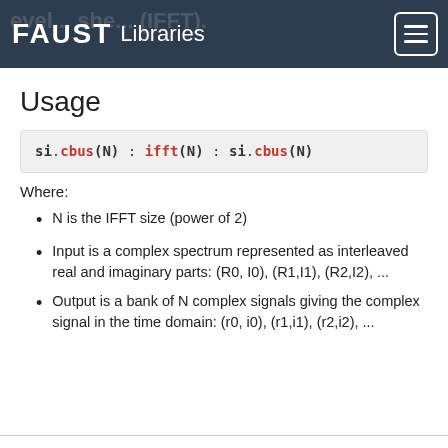FAUST Libraries
Usage
Where:
N is the IFFT size (power of 2)
Input is a complex spectrum represented as interleaved real and imaginary parts: (R0, I0), (R1,I1), (R2,I2), ...
Output is a bank of N complex signals giving the complex signal in the time domain: (r0, i0), (r1,i1), (r2,i2), ...